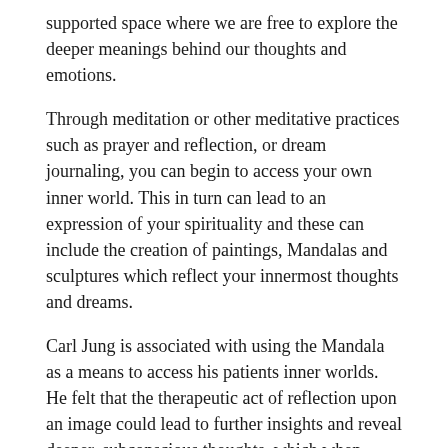supported space where we are free to explore the deeper meanings behind our thoughts and emotions.
Through meditation or other meditative practices such as prayer and reflection, or dream journaling, you can begin to access your own inner world. This in turn can lead to an expression of your spirituality and these can include the creation of paintings, Mandalas and sculptures which reflect your innermost thoughts and dreams.
Carl Jung is associated with using the Mandala as a means to access his patients inner worlds. He felt that the therapeutic act of reflection upon an image could lead to further insights and reveal deeper, subconscious thoughts, which when brought to the surface resolve a long forgotten issue
Leave a comment